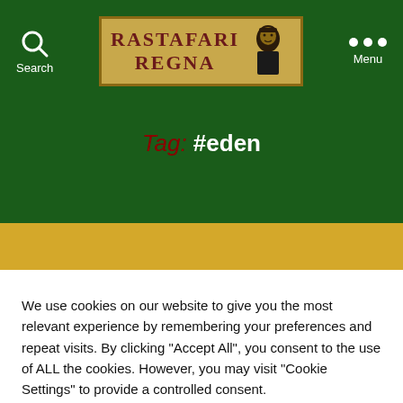[Figure (logo): Rastafari Regna website logo with decorative text and portrait illustration on parchment background]
Tag: #eden
We use cookies on our website to give you the most relevant experience by remembering your preferences and repeat visits. By clicking "Accept All", you consent to the use of ALL the cookies. However, you may visit "Cookie Settings" to provide a controlled consent.